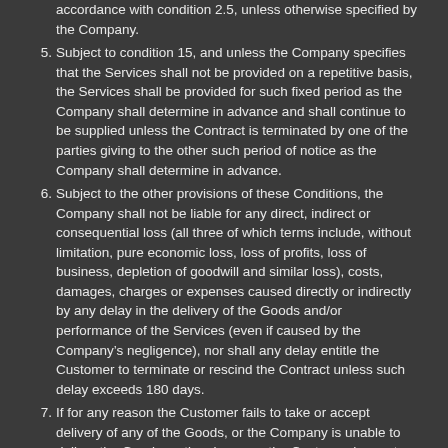accordance with condition 2.5, unless otherwise specified by the Company.
5. Subject to condition 15, and unless the Company specifies that the Services shall not be provided on a repetitive basis, the Services shall be provided for such fixed period as the Company shall determine in advance and shall continue to be supplied unless the Contract is terminated by one of the parties giving to the other such period of notice as the Company shall determine in advance.
6. Subject to the other provisions of these Conditions, the Company shall not be liable for any direct, indirect or consequential loss (all three of which terms include, without limitation, pure economic loss, loss of profits, loss of business, depletion of goodwill and similar loss), costs, damages, charges or expenses caused directly or indirectly by any delay in the delivery of the Goods and/or performance of the Services (even if caused by the Company’s negligence), nor shall any delay entitle the Customer to terminate or rescind the Contract unless such delay exceeds 180 days.
7. If for any reason the Customer fails to take or accept delivery of any of the Goods, or the Company is unable to deliver the Goods on time because the Customer has not provided appropriate instructions, documents, licences or authorisations:
(a) risk in the Goods shall pass to the Customer (including